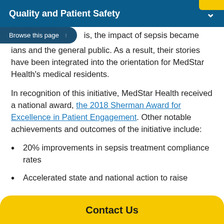Quality and Patient Safety
...is, the impact of sepsis became ...ians and the general public. As a result, their stories have been integrated into the orientation for MedStar Health's medical residents.
In recognition of this initiative, MedStar Health received a national award, the 2018 Sherman Award for Excellence in Patient Engagement. Other notable achievements and outcomes of the initiative include:
20% improvements in sepsis treatment compliance rates
Accelerated state and national action to raise
Contact Us